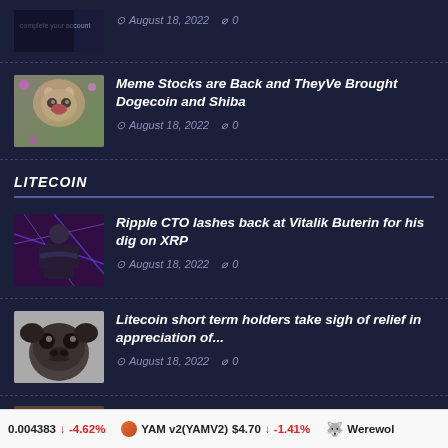[Figure (photo): Partial top article thumbnail showing dark image with text 'complete your account']
August 18, 2022  0
[Figure (photo): Shiba Inu dog with flowers in background]
Meme Stocks are Back and TheyVe Brought Dogecoin and Shiba
August 18, 2022  0
LITECOIN
[Figure (photo): Person in dark futuristic scene, Ripple CTO article image]
Ripple CTO lashes back at Vitalik Buterin for his dig on XRP
August 18, 2022  0
[Figure (photo): Black pug dog face close-up]
Litecoin short term holders take sigh of relief in appreciation of...
August 18, 2022  0
0.004383 ↓ -4.62%   YAM v2(YAMV2) $4.70 ↓ -1.41%   Werewolf